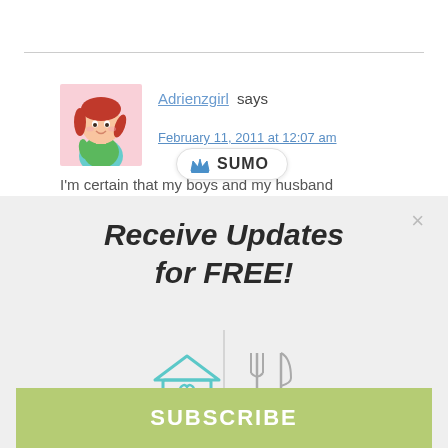[Figure (screenshot): Blog comment section showing user Adrienzgirl avatar (cartoon girl with red hair) and comment metadata]
Adrienzgirl says
February 11, 2011 at 12:07 am
[Figure (logo): SUMO badge with crown icon and text SUMO]
I'm certain that my boys and my husband
Receive Updates for FREE!
[Figure (infographic): Four icons in a 2x2 grid separated by crosshairs: top-left teal house with heart, top-right gray fork and knife, bottom-left yellow-green dumbbell, bottom-right red apple]
SUBSCRIBE